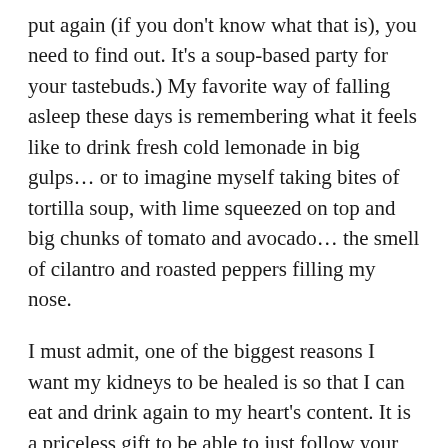put again (if you don't know what that is), you need to find out. It's a soup-based party for your tastebuds.) My favorite way of falling asleep these days is remembering what it feels like to drink fresh cold lemonade in big gulps... or to imagine myself taking bites of tortilla soup, with lime squeezed on top and big chunks of tomato and avocado... the smell of cilantro and roasted peppers filling my nose.
I must admit, one of the biggest reasons I want my kidneys to be healed is so that I can eat and drink again to my heart's content. It is a priceless gift to be able to just follow your senses and satisfy your desires for food. If I had to rank my miseries they would go like this: Drowning in my lungs (definitely number 1), sepsis (short lived but horrible), gall bladder attacks, daily unquenchable thirst,